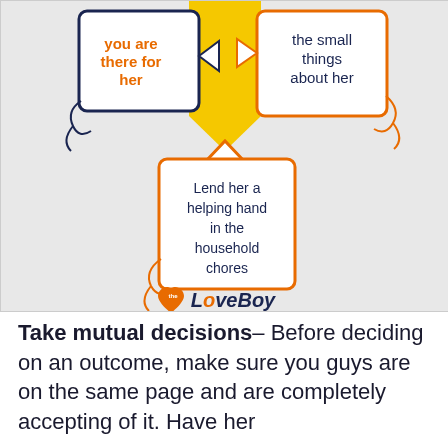[Figure (infographic): Infographic showing speech bubbles with relationship advice. Two orange speech bubbles at top: 'you are there for her' (left) and 'the small things about her' (right). A yellow rectangle in the center top connects to a bottom orange speech bubble: 'Lend her a helping hand in the household chores'. TheLoveBoy logo at the bottom.]
Take mutual decisions– Before deciding on an outcome, make sure you guys are on the same page and are completely accepting of it. Have her